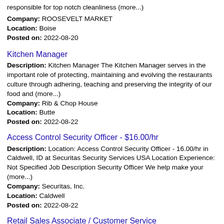responsible for top notch cleanliness (more...)
Company: ROOSEVELT MARKET
Location: Boise
Posted on: 2022-08-20
Kitchen Manager
Description: Kitchen Manager The Kitchen Manager serves in the important role of protecting, maintaining and evolving the restaurants culture through adhering, teaching and preserving the integrity of our food and (more...)
Company: Rib & Chop House
Location: Butte
Posted on: 2022-08-22
Access Control Security Officer - $16.00/hr
Description: Location: Access Control Security Officer - 16.00/hr in Caldwell, ID at Securitas Security Services USA Location Experience: Not Specified Job Description Security Officer We help make your (more...)
Company: Securitas, Inc.
Location: Caldwell
Posted on: 2022-08-22
Retail Sales Associate / Customer Service
Description: Overview: Elements Massage in Boise and Meridian are looking for engaging and outgoing personalities for our Wellness Membership Advisor WMA position. Our WMAs lead the sales and customer service of (more...)